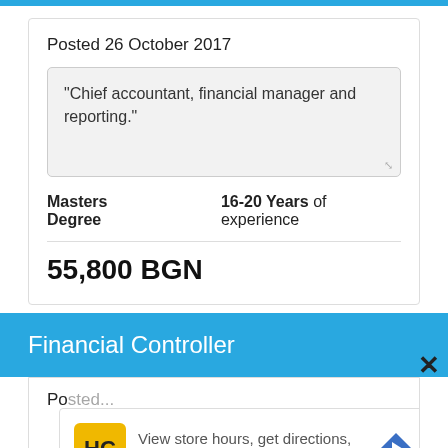Posted 26 October 2017
"Chief accountant, financial manager and reporting."
Masters Degree   16-20 Years of experience
55,800 BGN
Financial Controller
Po...
[Figure (other): Advertisement overlay: HC logo (yellow square with HC text), text 'View store hours, get directions, or call your salon!', blue diamond arrow icon, play and close controls]